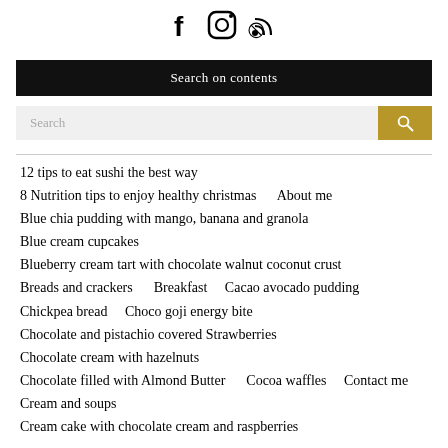[Figure (other): Social media icons: Facebook, Instagram, RSS feed]
Search on contents
[Figure (other): Search bar with text 'Search' and a gold search button icon]
12 tips to eat sushi the best way
8 Nutrition tips to enjoy healthy christmas   About me
Blue chia pudding with mango, banana and granola
Blue cream cupcakes
Blueberry cream tart with chocolate walnut coconut crust
Breads and crackers   Breakfast   Cacao avocado pudding
Chickpea bread   Choco goji energy bite
Chocolate and pistachio covered Strawberries
Chocolate cream with hazelnuts
Chocolate filled with Almond Butter   Cocoa waffles   Contact me
Cream and soups
Cream cake with chocolate cream and raspberries